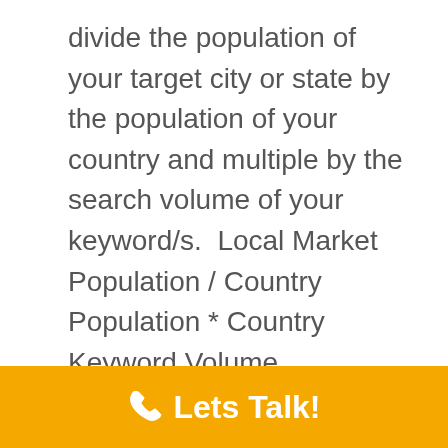divide the population of your target city or state by the population of your country and multiple by the search volume of your keyword/s.  Local Market Population / Country Population * Country Keyword Volume.  Example: Local SEO has 6600 monthly searches.   The United States population is 300 million.  Colorado's population is 10 million.  (10 / 300) * 6600 = 220.  Ballpark estimate of people searching in Colorado for local seo is 220 monthly searches.
Lets Talk!